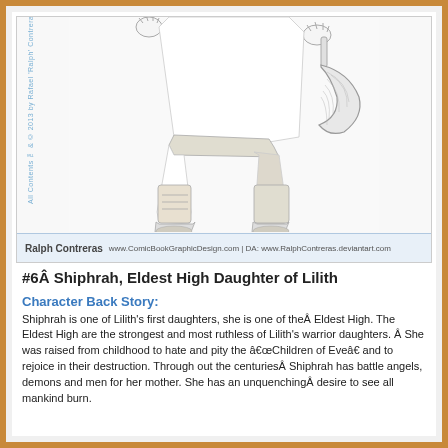[Figure (illustration): Pencil sketch illustration of a female warrior character (Shiphrah) showing her lower body with armored boots, leg wraps, and holding a crescent-shaped blade weapon. Watermark text reads 'All Contents ™ & © 2013 by Rafael Ralph Contreras'. Footer credit reads 'Ralph Contreras www.ComicBookGraphicDesign.com | DA: www.RalphContreras.deviantart.com']
#6Â Shiphrah, Eldest High Daughter of Lilith
Character Back Story:
Shiphrah is one of Lilith's first daughters, she is one of theÂ Eldest High. The Eldest High are the strongest and most ruthless of Lilith's warrior daughters. Â She was raised from childhood to hate and pity the â€œChildren of Eveâ€ and to rejoice in their destruction. Through out the centuriesÂ Shiphrah has battle angels, demons and men for her mother. She has an unquenchingÂ desire to see all mankind burn.